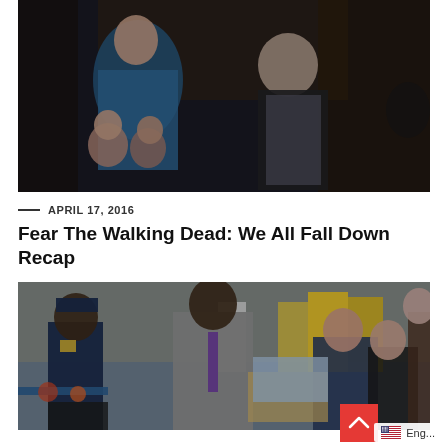[Figure (photo): Dark indoor scene with two adults and two children standing at a doorway. A woman in a blue jacket holds two small children, and an older bald man in a dark jacket stands beside her, facing someone off-screen.]
— APRIL 17, 2016
Fear The Walking Dead: We All Fall Down Recap
[Figure (photo): Outdoor scene with a police officer in uniform, a man in a grey suit with a purple tie, a woman and man in casual clothes, and people in yellow hazmat suits in the background. Appears to be a busy public space.]
Eng...